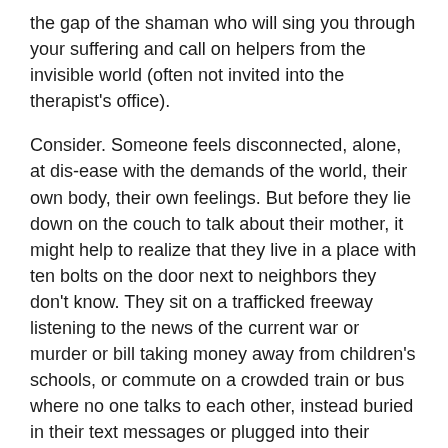the gap of the shaman who will sing you through your suffering and call on helpers from the invisible world (often not invited into the therapist's office).
Consider. Someone feels disconnected, alone, at dis-ease with the demands of the world, their own body, their own feelings. But before they lie down on the couch to talk about their mother, it might help to realize that they live in a place with ten bolts on the door next to neighbors they don't know. They sit on a trafficked freeway listening to the news of the current war or murder or bill taking money away from children's schools, or commute on a crowded train or bus where no one talks to each other, instead buried in their text messages or plugged into their private listening station. They work in some cubicle in some office with forced air sitting in front of screens all day doing work they don't particularly care about. Back home way too late, pick up some fast-food cooked in greasy vats with no care or love, plop down in front of the TV and watch Judge Judy. Four more days and then it's the big shopping trip down the strip mall to Walmart or Costco, pick up the magazine at the counter to see how Brittany or Jennifer are doing, home at night to tune into the